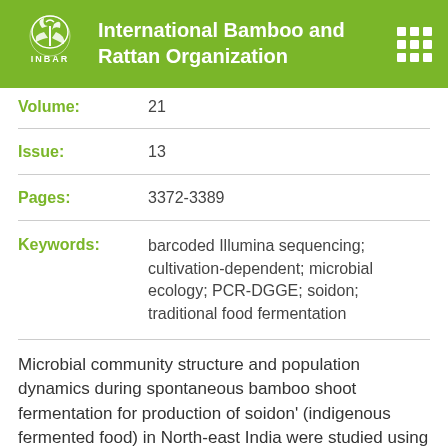International Bamboo and Rattan Organization
| Volume: | 21 |
| Issue: | 13 |
| Pages: | 3372-3389 |
| Keywords: | barcoded Illumina sequencing; cultivation-dependent; microbial ecology; PCR-DGGE; soidon; traditional food fermentation |
Microbial community structure and population dynamics during spontaneous bamboo shoot fermentation for production of soidon' (indigenous fermented food) in North-east India were studied using cultivation-dependent and cultivation-independent